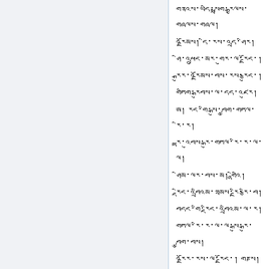གནའས་ཡདི་སྨྲག་རྒྱལས་གཞལས། དི་རས་འདྲ་ཤིར། ཤི་འཕྲུང་མར་གུར་ཡ་རྗོང་། རྒུར་འརྗོམས་བས་རས་རྩུང་། གཏིག་རྒུབས་ལ་དད་འཛུར། ཨ། རང་གི་སྒུ་བྱུག་གཏལ་རི་ར། རྟ་འུབས་རྒུ་གཏལ་རི་ར་ལ་ལ་ཤིམ་ལར་བས་མ། གྷི་རི། རྡིང་འབྲིའམ་ཐམས་རྗི་རྩི་བ། བདང་གི་རྡིང་འབྲིའམ་ལ་ར། གཏལ་རི་ར་ལ་ལ་སྒུ་རྒུ་བྱུག་བས། འརྗོར་རས་ལ་རྗོང་། གཎས། རང་དབང་མིད་ལར་དབང་རྡུར་གབྷི་ལར།